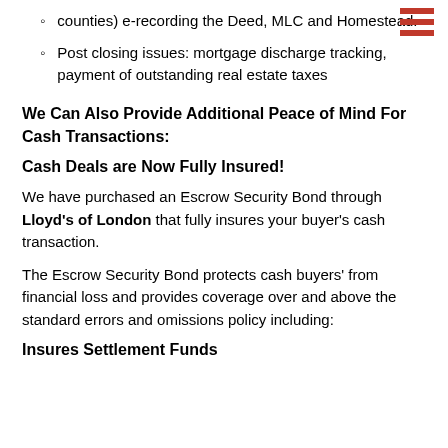counties) e-recording the Deed, MLC and Homestead.
Post closing issues: mortgage discharge tracking, payment of outstanding real estate taxes
We Can Also Provide Additional Peace of Mind For Cash Transactions:
Cash Deals are Now Fully Insured!
We have purchased an Escrow Security Bond through Lloyd's of London that fully insures your buyer's cash transaction.
The Escrow Security Bond protects cash buyers' from financial loss and provides coverage over and above the standard errors and omissions policy including:
Insures Settlement Funds